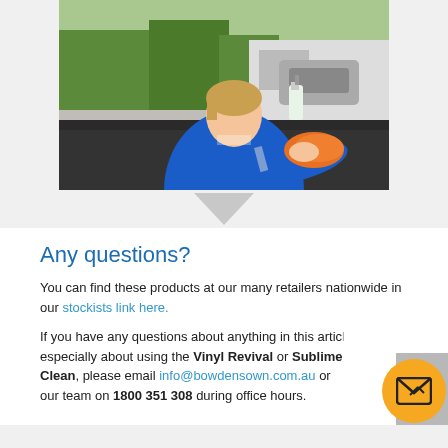[Figure (photo): A young person in a blue polo shirt wiping a dark car roof with an orange cloth, with a spray bottle visible on the car. Background shows trees and a street.]
Any questions?
You can find these products at our many retailers nationwide in our stockists link here.
If you have any questions about anything in this article, especially about using the Vinyl Revival or Sublime Clean, please email info@bowdensown.com.au or our team on 1800 351 308 during office hours.